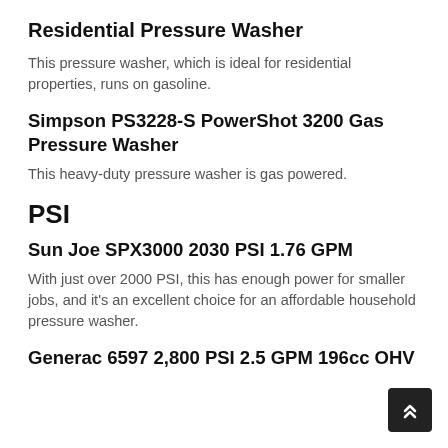Residential Pressure Washer
This pressure washer, which is ideal for residential properties, runs on gasoline.
Simpson PS3228-S PowerShot 3200 Gas Pressure Washer
This heavy-duty pressure washer is gas powered.
PSI
Sun Joe SPX3000 2030 PSI 1.76 GPM
With just over 2000 PSI, this has enough power for smaller jobs, and it's an excellent choice for an affordable household pressure washer.
Generac 6597 2,800 PSI 2.5 GPM 196cc OHV